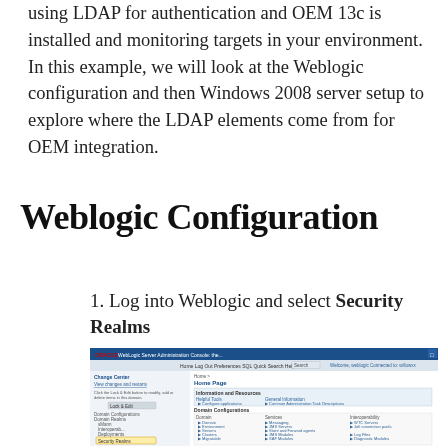using LDAP for authentication and OEM 13c is installed and monitoring targets in your environment.  In this example, we will look at the Weblogic configuration and then Windows 2008 server setup to explore where the LDAP elements come from for OEM integration.
Weblogic Configuration
1. Log into Weblogic and select Security Realms
[Figure (screenshot): Screenshot of Oracle WebLogic Server Administration Console showing the Security Realms section in the left navigation pane highlighted, with the main panel showing Domain Home with Information and Resources, Domain Configurations, and Security section visible.]